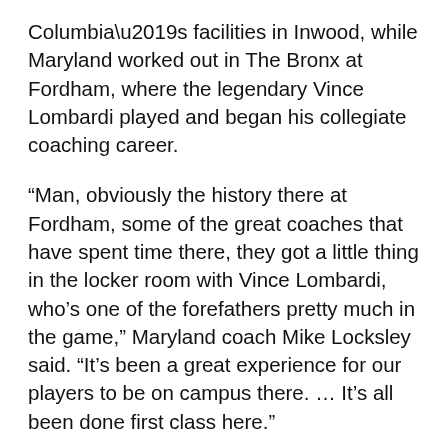Columbia's facilities in Inwood, while Maryland worked out in The Bronx at Fordham, where the legendary Vince Lombardi played and began his collegiate coaching career.
“Man, obviously the history there at Fordham, some of the great coaches that have spent time there, they got a little thing in the locker room with Vince Lombardi, who’s one of the forefathers pretty much in the game,” Maryland coach Mike Locksley said. “It’s been a great experience for our players to be on campus there. … It’s all been done first class here.”
Spending a few days in New York around the holidays always is part of the appeal of the